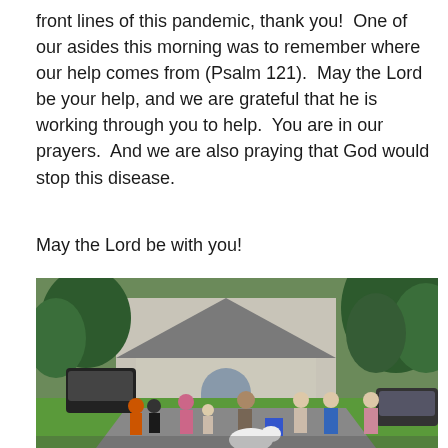front lines of this pandemic, thank you!  One of our asides this morning was to remember where our help comes from (Psalm 121).  May the Lord be your help, and we are grateful that he is working through you to help.  You are in our prayers.  And we are also praying that God would stop this disease.
May the Lord be with you!
[Figure (photo): Outdoor photo on a residential street showing a group of people standing spread apart in a driveway/street in front of a suburban house with large trees. People include children and adults casually dressed. A white dog is visible in the foreground.]